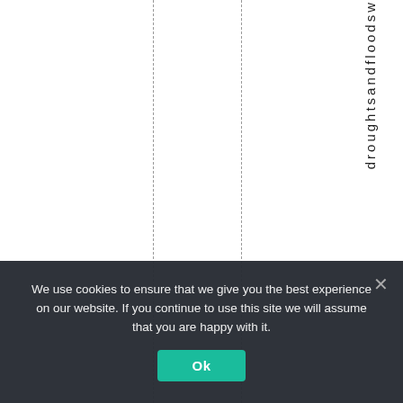[Figure (other): Partial view of a table or chart with vertical dashed column separator lines and rotated vertical text reading 'droughtsandfloodsw' along the right side of the page, cut off at the bottom.]
We use cookies to ensure that we give you the best experience on our website. If you continue to use this site we will assume that you are happy with it.